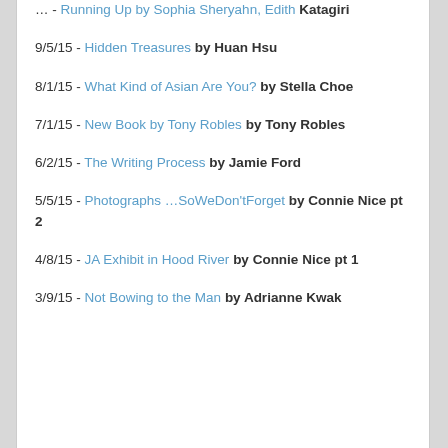… - Running Up by Sophia Sheryahn, Edith Katagiri
9/5/15 - Hidden Treasures by Huan Hsu
8/1/15 - What Kind of Asian Are You? by Stella Choe
7/1/15 - New Book by Tony Robles by Tony Robles
6/2/15 - The Writing Process by Jamie Ford
5/5/15 - Photographs …SoWeDon'tForget by Connie Nice pt 2
4/8/15 - JA Exhibit in Hood River by Connie Nice pt 1
3/9/15 - Not Bowing to the Man by Adrianne Kwak